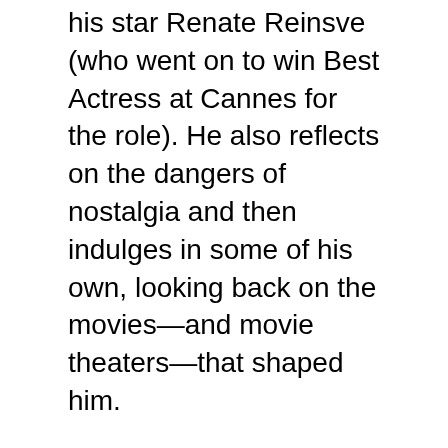his star Renate Reinsve (who went on to win Best Actress at Cannes for the role). He also reflects on the dangers of nostalgia and then indulges in some of his own, looking back on the movies—and movie theaters—that shaped him.
THE WORST PERSON IN THE WORLD is now showing in select UK cinemas and will exclusively stream on MUBI in the UK, Ireland, India, and Turkey starting May 13, 2022.
Subscribe to stay tuned for more special episodes and Season 2.
MUBI is a global streaming service,